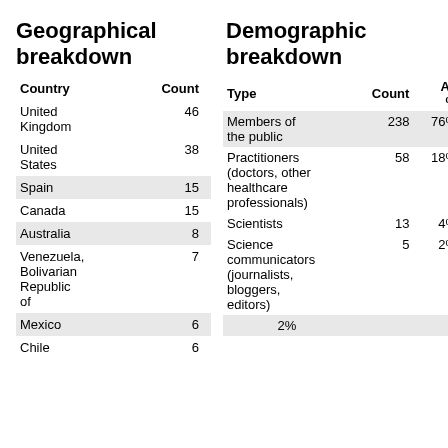Geographical breakdown
Demographic breakdown
| Country | Count |
| --- | --- |
| United Kingdom | 46 |
| United States | 38 |
| Spain | 15 |
| Canada | 15 |
| Australia | 8 |
| Venezuela, Bolivarian Republic of | 7 |
| Mexico | 6 |
| Chile | 6 |
| Type | Count | As % |
| --- | --- | --- |
| Members of the public | 238 | 76% |
| Practitioners (doctors, other healthcare professionals) | 58 | 18% |
| Scientists | 13 | 4% |
| Science communicators (journalists, bloggers, editors) | 5 | 2% |